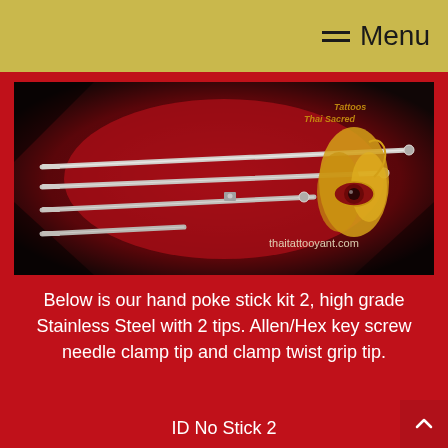Menu
[Figure (photo): Photo of a hand poke tattoo stick kit 2 — four stainless steel rods of varying lengths laid on a red velvet background. Thai Sacred Tattoos logo (a flame-eye motif) and text 'thaitattooyant.com' visible on the right side.]
Below is our hand poke stick kit 2, high grade Stainless Steel with 2 tips. Allen/Hex key screw needle clamp tip and clamp twist grip tip.
ID No Stick 2
Baht 4995 which is about $140
[Figure (photo): Partial bottom image showing Thai Sacred Tattoos branding on dark background.]